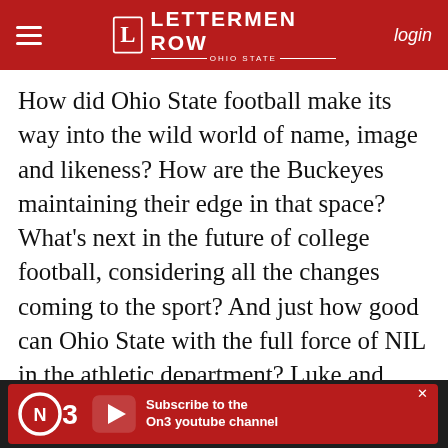≡ LETTERMEN ROW OHIO STATE login
How did Ohio State football make its way into the wild world of name, image and likeness? How are the Buckeyes maintaining their edge in that space? What's next in the future of college football, considering all the changes coming to the sport? And just how good can Ohio State with the full force of NIL in the athletic department? Luke and Tim talk about that and plenty more on the latest episode of the show.
You will not want to miss that and plenty
[Figure (infographic): On3 YouTube channel advertisement banner with red background, On3 logo, play button, and 'Subscribe to the On3 youtube channel' text]